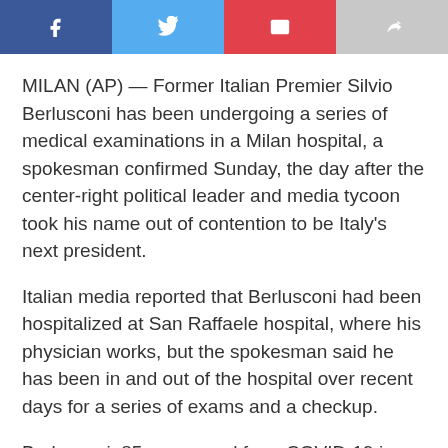[Figure (infographic): Social share buttons bar with Facebook (dark blue), Twitter (light blue), Email (red), and Share (gray) buttons]
MILAN (AP) — Former Italian Premier Silvio Berlusconi has been undergoing a series of medical examinations in a Milan hospital, a spokesman confirmed Sunday, the day after the center-right political leader and media tycoon took his name out of contention to be Italy's next president.
Italian media reported that Berlusconi had been hospitalized at San Raffaele hospital, where his physician works, but the spokesman said he has been in and out of the hospital over recent days for a series of exams and a checkup.
Berlusconi, 85, recovered from COVID-19 in 2020 and was in and out of the hospital last spring for treatment of complications related to the virus.